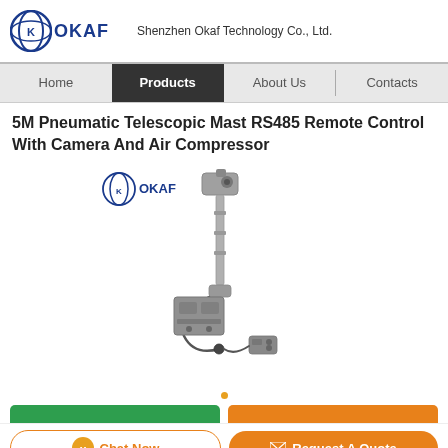Shenzhen Okaf Technology Co., Ltd.
Home | Products | About Us | Contacts
5M Pneumatic Telescopic Mast RS485 Remote Control With Camera And Air Compressor
[Figure (photo): Product photo of a 5M pneumatic telescopic mast with camera mount on top and air compressor base unit. OKAF logo/text visible in upper left of image.]
Chat Now | Request A Quote